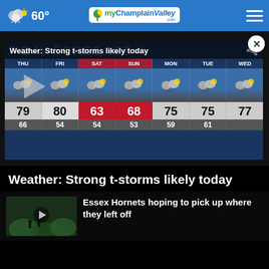60° myChamplainValley.com
[Figure (screenshot): 7-day weather forecast video screenshot showing days THU through WED with storm icons and temperatures. High temps: 79, 80, 63 (SAT highlighted red), 68 (SUN highlighted red), 75, 75, 77. Low temps: 66, 54, 54, 53, 59, 61. Title overlay: Weather: Strong t-storms likely today]
Weather: Strong t-storms likely today
Essex Hornets hoping to pick up where they left off